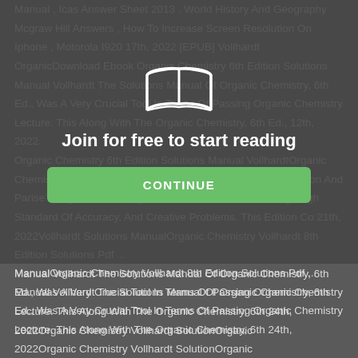Manual , Icas Answer Sheet 2013 , World History And Geography Mcgraw Hill Answers , How To Increase Screen Resolution On Iphone , Motorola I920 17th, 2022 [EPUB] Vollhardt OrganicDownload Ebook Organic Chemistry 6th Edition Solutions Manual Vollhardt The Solutions Manual Of Organic Chemistry, 6th Ed., Was A Very Crucial Tool In Terms Of Passing Organic Chemistry Lecture. This Along With The Organic Chemistry, 6th Ed., 12th, 2022. Organic Chemistry 6th Edition Solutions Manual VollhardtOrganic Chemistry Marc Loudon Study And Solutions 6th Edition Loudon And Parise's Organic Chemistry Is Known For Its Clear Writing, High Standard Of Accuracy, And Creative Problems. This Edition Co 21th, 2022Vollhardt Solutions ManualOrganic Chemistry Vollhardt 8th Edition Solutions Pdf ... Manual Vollhardt The Solutions Manual Of Organic Chemistry, 6th Ed., Was A Very Crucial Tool In Terms Of Passing Organic Chemistry Lecture. This Along With The Organic Chemistry, 6th 24th, 2022Organic Chemistry Vollhardt SolutionOrganic
[Figure (illustration): Open book icon (white outline) centered in overlay panel]
Join for free to start reading
CONTINUE